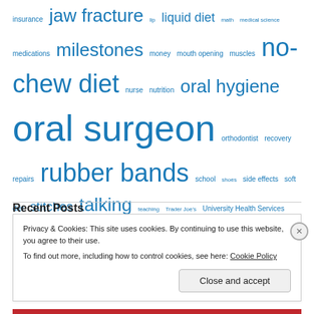insurance jaw fracture lip liquid diet math medical science medications milestones money mouth opening muscles no-chew diet nurse nutrition oral hygiene oral surgeon orthodontist recovery repairs rubber bands school shoes side effects soft diet stitches talking teaching Trader Joe's University Health Services Vega vegan Veganism Vicodin weight Whole Foods Market wired jaw wired mouth work
Recent Posts
Privacy & Cookies: This site uses cookies. By continuing to use this website, you agree to their use. To find out more, including how to control cookies, see here: Cookie Policy
Close and accept